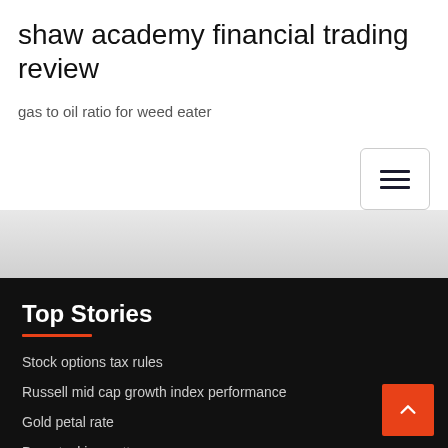shaw academy financial trading review
gas to oil ratio for weed eater
[Figure (other): Hamburger menu button icon with three horizontal lines inside a rounded rectangle border]
[Figure (other): Gray gradient band/divider section]
Top Stories
Stock options tax rules
Russell mid cap growth index performance
Gold petal rate
Dog stocking pattern